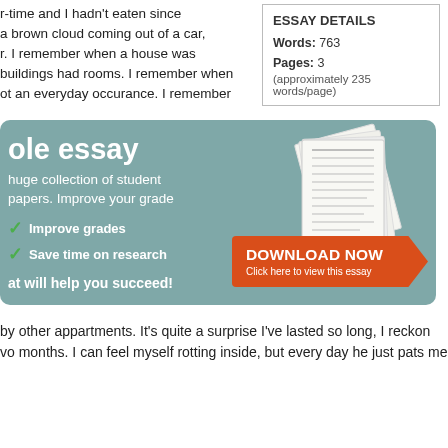r-time and I hadn't eaten since a brown cloud coming out of a car, r. I remember when a house was buildings had rooms. I remember when ot an everyday occurance. I remember
| ESSAY DETAILS |  |
| --- | --- |
| Words: | 763 |
| Pages: | 3 |
| (approximately 235 words/page) |  |
[Figure (infographic): Advertisement banner for essay download service on teal background. Shows 'ole essay' title, 'huge collection of student papers. Improve your grade', checkmarks for 'Improve grades' and 'Save time on research', 'at will help you succeed!', a stack of paper documents illustration, and an orange 'DOWNLOAD NOW / Click here to view this essay' button.]
by other appartments. It's quite a surprise I've lasted so long, I reckon vo months. I can feel myself rotting inside, but every day he just pats me